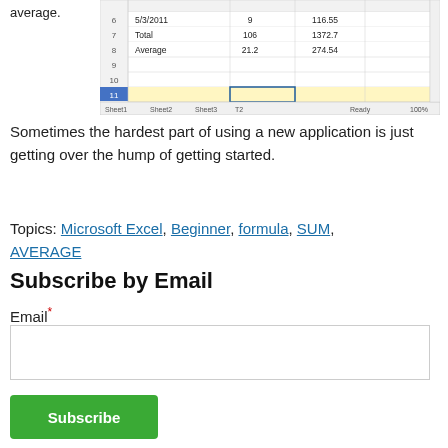[Figure (screenshot): Excel spreadsheet screenshot showing rows with dates/numbers including row 6: 5/3/2011, 9, 116.55; row 7: Total, 106, 1372.7; row 8: Average, 21.2, 274.54; rows 9-15 empty; row 13 selected cell highlighted; Sheet tabs at bottom: Sheet1, Sheet2, Sheet3, T2; status bar showing Ready, 100%]
Sometimes the hardest part of using a new application is just getting over the hump of getting started.
Topics: Microsoft Excel, Beginner, formula, SUM, AVERAGE
Subscribe by Email
Email*
Subscribe